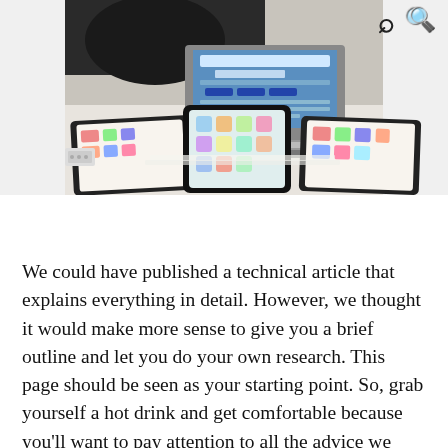[Figure (photo): A photo of a desk with a laptop showing a website, a tablet in the center, and two other tablets/devices on either side. A person is partially visible leaning over the laptop in the background.]
We could have published a technical article that explains everything in detail. However, we thought it would make more sense to give you a brief outline and let you do your own research. This page should be seen as your starting point. So, grab yourself a hot drink and get comfortable because you'll want to pay attention to all the advice we have to